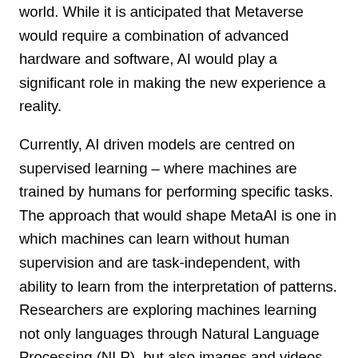world. While it is anticipated that Metaverse would require a combination of advanced hardware and software, AI would play a significant role in making the new experience a reality.
Currently, AI driven models are centred on supervised learning – where machines are trained by humans for performing specific tasks. The approach that would shape MetaAI is one in which machines can learn without human supervision and are task-independent, with ability to learn from the interpretation of patterns. Researchers are exploring machines learning not only languages through Natural Language Processing (NLP), but also images and videos, thus moving towards unified models capable of learning and interpreting multiple modes of content simultaneously.